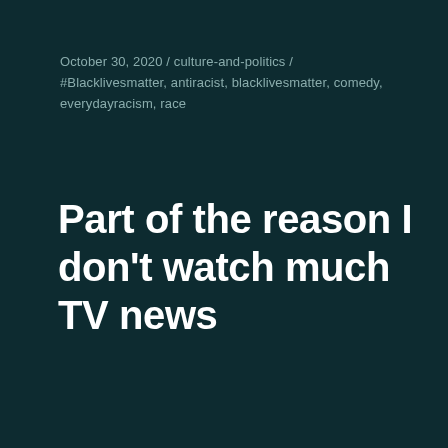October 30, 2020  /  culture-and-politics  /  #Blacklivesmatter, antiracist, blacklivesmatter, comedy, everydayracism, race
Part of the reason I don't watch much TV news